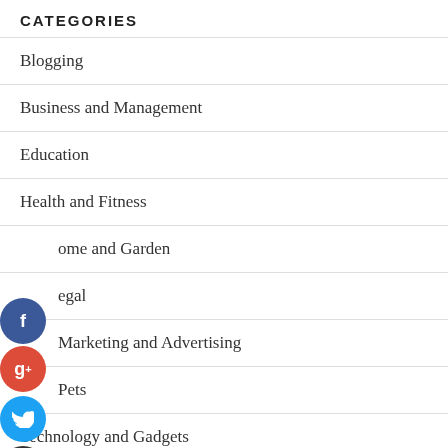CATEGORIES
Blogging
Business and Management
Education
Health and Fitness
Home and Garden
Legal
Marketing and Advertising
Pets
Technology and Gadgets